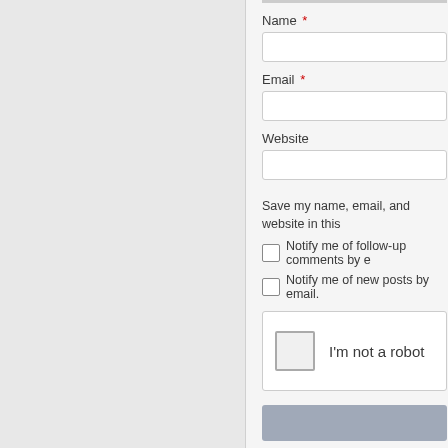Name *
Email *
Website
Save my name, email, and website in this...
Notify me of follow-up comments by e...
Notify me of new posts by email.
[Figure (other): reCAPTCHA widget with checkbox and I'm not a robot label]
This site uses Akismet to reduce spam.